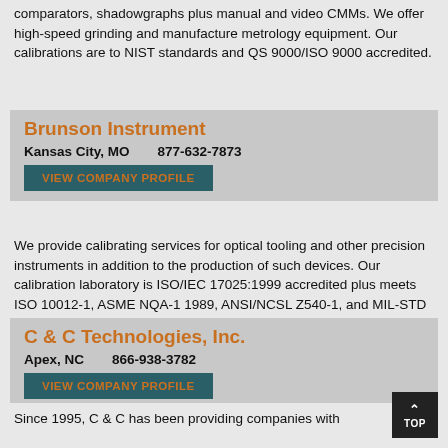comparators, shadowgraphs plus manual and video CMMs. We offer high-speed grinding and manufacture metrology equipment. Our calibrations are to NIST standards and QS 9000/ISO 9000 accredited.
Brunson Instrument
Kansas City, MO     877-632-7873
VIEW COMPANY PROFILE
We provide calibrating services for optical tooling and other precision instruments in addition to the production of such devices. Our calibration laboratory is ISO/IEC 17025:1999 accredited plus meets ISO 10012-1, ASME NQA-1 1989, ANSI/NCSL Z540-1, and MIL-STD 45566 2A standards.
C & C Technologies, Inc.
Apex, NC     866-938-3782
VIEW COMPANY PROFILE
Since 1995, C & C has been providing companies with